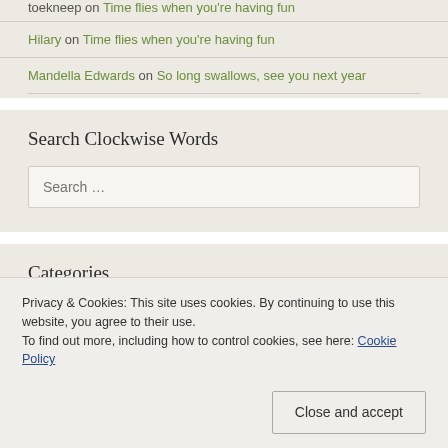toekneep on Time flies when you're having fun
Hilary on Time flies when you're having fun
Mandella Edwards on So long swallows, see you next year
Search Clockwise Words
Search …
Categories
Beekeeping
Privacy & Cookies: This site uses cookies. By continuing to use this website, you agree to their use.
To find out more, including how to control cookies, see here: Cookie Policy
Close and accept